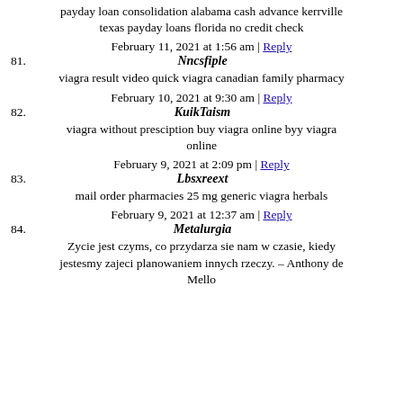payday loan consolidation alabama cash advance kerrville texas payday loans florida no credit check
February 11, 2021 at 1:56 am | Reply
81. Nncsfiple
viagra result video quick viagra canadian family pharmacy
February 10, 2021 at 9:30 am | Reply
82. KuikTaism
viagra without presciption buy viagra online byy viagra online
February 9, 2021 at 2:09 pm | Reply
83. Lbsxreext
mail order pharmacies 25 mg generic viagra herbals
February 9, 2021 at 12:37 am | Reply
84. Metalurgia
Zycie jest czyms, co przydarza sie nam w czasie, kiedy jestesmy zajeci planowaniem innych rzeczy. – Anthony de Mello